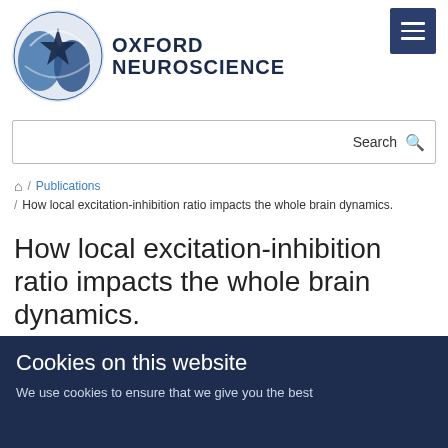[Figure (logo): Oxford Neuroscience logo with circular brain graphic and text 'OXFORD NEUROSCIENCE']
Search
Home / Publications / How local excitation-inhibition ratio impacts the whole brain dynamics.
How local excitation-inhibition ratio impacts the whole brain dynamics.
Deco G., Ponce-Alvarez A., Hagmann P., Romani GL., Mantini D., Corbetta M.
Cookies on this website
We use cookies to ensure that we give you the best